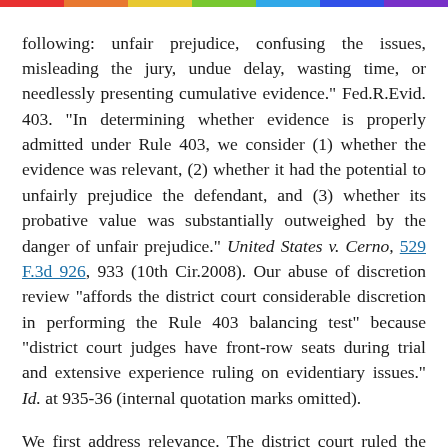following: unfair prejudice, confusing the issues, misleading the jury, undue delay, wasting time, or needlessly presenting cumulative evidence." Fed.R.Evid. 403. "In determining whether evidence is properly admitted under Rule 403, we consider (1) whether the evidence was relevant, (2) whether it had the potential to unfairly prejudice the defendant, and (3) whether its probative value was substantially outweighed by the danger of unfair prejudice." United States v. Cerno, 529 F.3d 926, 933 (10th Cir.2008). Our abuse of discretion review "affords the district court considerable discretion in performing the Rule 403 balancing test" because "district court judges have front-row seats during trial and extensive experience ruling on evidentiary issues." Id. at 935-36 (internal quotation marks omitted).
We first address relevance. The district court ruled the exhibit was relevant because, if admitted, the